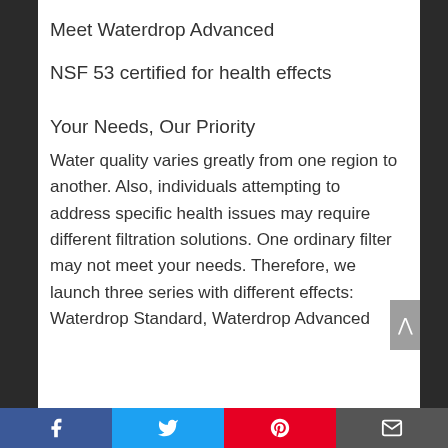Meet Waterdrop Advanced
NSF 53 certified for health effects
Your Needs, Our Priority
Water quality varies greatly from one region to another. Also, individuals attempting to address specific health issues may require different filtration solutions. One ordinary filter may not meet your needs. Therefore, we launch three series with different effects: Waterdrop Standard, Waterdrop Advanced